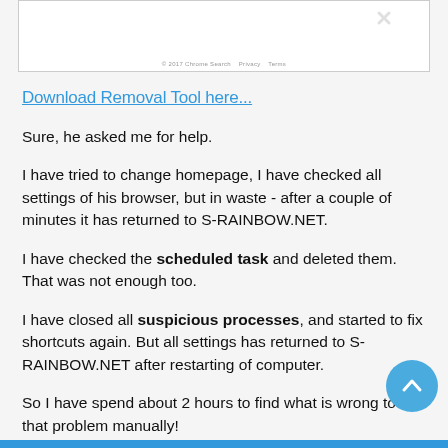[Figure (screenshot): Screenshot of a webpage with footer text '© 2017 Chrome Search   Privacy   Terms' and a faint logo in the top right corner.]
Download Removal Tool here...
Sure, he asked me for help.
I have tried to change homepage, I have checked all settings of his browser, but in waste - after a couple of minutes it has returned to S-RAINBOW.NET.
I have checked the scheduled task and deleted them. That was not enough too.
I have closed all suspicious processes, and started to fix shortcuts again. But all settings has returned to S-RAINBOW.NET after restarting of computer.
So I have spend about 2 hours to find what is wrong to fix that problem manually!